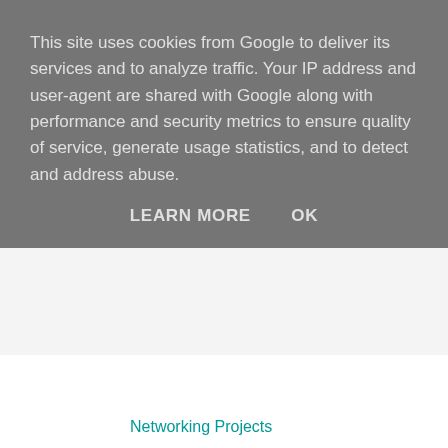This site uses cookies from Google to deliver its services and to analyze traffic. Your IP address and user-agent are shared with Google along with performance and security metrics to ensure quality of service, generate usage statistics, and to detect and address abuse.
LEARN MORE   OK
Networking Projects
JavaScript Training in Chennai
Reply
menyeng 21 June 2020 at 04:14
I thank you for the information and articles you provided cara menggugurkan kandungan
Reply